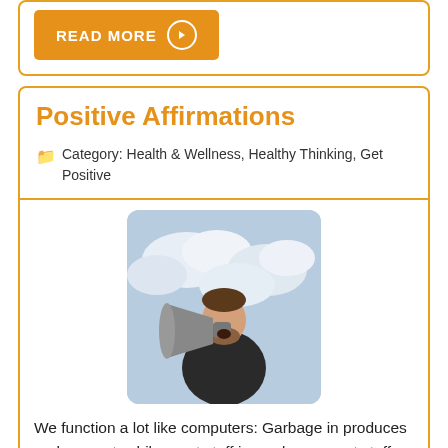READ MORE →
Positive Affirmations
Category: Health & Wellness, Healthy Thinking, Get Positive
[Figure (photo): A man in a dark jacket shouting into a large megaphone against a cloudy sky background]
We function a lot like computers: Garbage in produces garbage out, while great stuff in produces great stuff out. We talk to ourselves far more than we talk to others. In fact, most experts agree that about 80 percent of all conversations